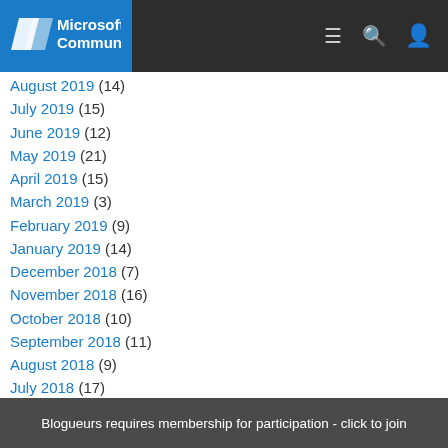MicrosoftTouch Community
August 2019 (14)
July 2019 (15)
June 2019 (12)
May 2019 (21)
April 2019 (15)
March 2019 (3)
February 2019 (9)
January 2019 (14)
December 2018 (7)
November 2018 (16)
October 2018 (10)
September 2018 (11)
August 2018 (9)
July 2018 (17)
June 2018 (14)
May 2018 (12)
April 2018 (17)
March 2018 (14)
February 2018 (21)
January 2018 (16)
December 2017 (22)
November 2017 (14)
October 2017 (...)
September 2017 (19)
August 2017 (17)
Blogueurs requires membership for participation - click to join